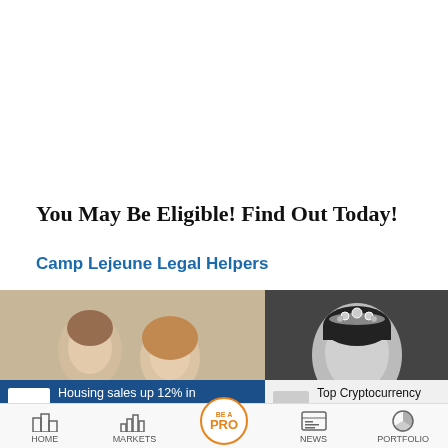You May Be Eligible! Find Out Today!
Camp Lejeune Legal Helpers
[Figure (photo): Two people in formal attire — a young man in a tuxedo and a young woman in a blue dress — posing together in a black and white or vintage color photo]
[Figure (photo): Black and white portrait of a man wearing a tiara/crown, looking seriously at the camera]
Housing sales up 12% in Jan-Mar over previous...
Top Cryptocurrency News on August 26: Bitc... and Eth...
HOME   MARKETS   BE A PRO   NEWS   PORTFOLIO